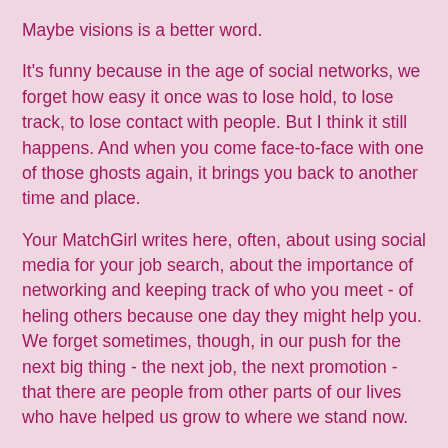Maybe visions is a better word.
It's funny because in the age of social networks, we forget how easy it once was to lose hold, to lose track, to lose contact with people. But I think it still happens. And when you come face-to-face with one of those ghosts again, it brings you back to another time and place.
Your MatchGirl writes here, often, about using social media for your job search, about the importance of networking and keeping track of who you meet - of heling others because one day they might help you. We forget sometimes, though, in our push for the next big thing - the next job, the next promotion - that there are people from other parts of our lives who have helped us grow to where we stand now.
I was interviewed recently and asked, "What do you wish you knew when you were in college?" This is something that your MatchGirl has thought long and hard about. And the answer is something that brings ghosts to mind:
I wish, when I was at school, that I had known it